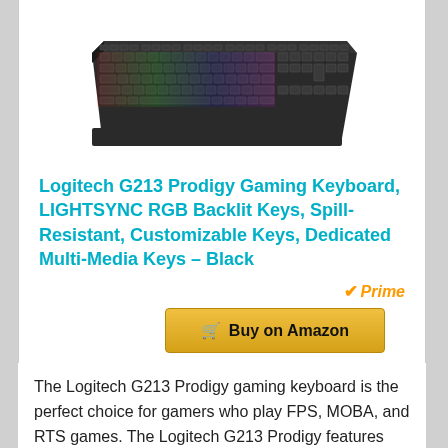[Figure (photo): Logitech G213 Prodigy gaming keyboard shown from above at a slight angle, black color with RGB backlit keys]
Logitech G213 Prodigy Gaming Keyboard, LIGHTSYNC RGB Backlit Keys, Spill-Resistant, Customizable Keys, Dedicated Multi-Media Keys – Black
Prime
Buy on Amazon
The Logitech G213 Prodigy gaming keyboard is the perfect choice for gamers who play FPS, MOBA, and RTS games. The Logitech G213 Prodigy features Logitech exclusive Romer-G mechanical switches that have a short actuation distance of 1.5mm with a light